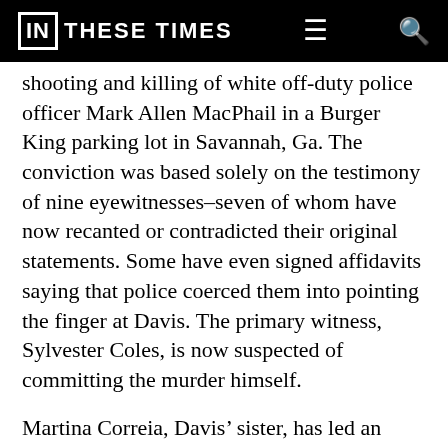IN THESE TIMES
shooting and killing of white off-duty police officer Mark Allen MacPhail in a Burger King parking lot in Savannah, Ga. The conviction was based solely on the testimony of nine eyewitnesses–seven of whom have now recanted or contradicted their original statements. Some have even signed affidavits saying that police coerced them into pointing the finger at Davis. The primary witness, Sylvester Coles, is now suspected of committing the murder himself.
Martina Correia, Davis' sister, has led an international campaign to save her brother's life and prove his innocence. South African Archbishop Desmond Tutu and former President Jimmy Carter have publicly expressed their support for Davis.